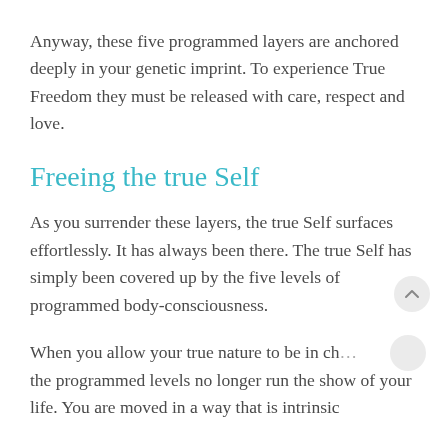Anyway, these five programmed layers are anchored deeply in your genetic imprint. To experience True Freedom they must be released with care, respect and love.
Freeing the true Self
As you surrender these layers, the true Self surfaces effortlessly. It has always been there. The true Self has simply been covered up by the five levels of programmed body-consciousness.
When you allow your true nature to be in ch… the programmed levels no longer run the show of your life. You are moved in a way that is intrinsic